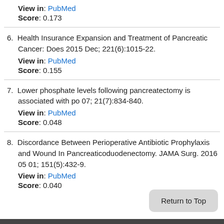View in: PubMed
Score: 0.173
6. Health Insurance Expansion and Treatment of Pancreatic Cancer: Does 2015 Dec; 221(6):1015-22.
View in: PubMed
Score: 0.155
7. Lower phosphate levels following pancreatectomy is associated with po 07; 21(7):834-840.
View in: PubMed
Score: 0.048
8. Discordance Between Perioperative Antibiotic Prophylaxis and Wound In Pancreaticoduodenectomy. JAMA Surg. 2016 05 01; 151(5):432-9.
View in: PubMed
Score: 0.040